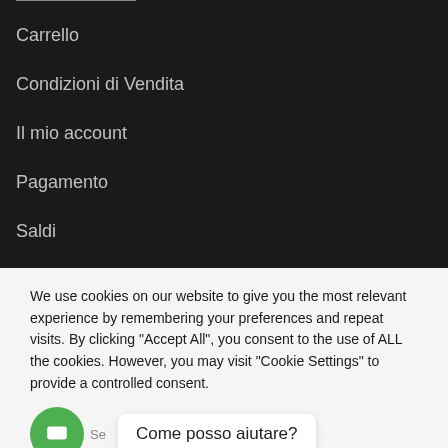Carrello
Condizioni di Vendita
Il mio account
Pagamento
Saldi
Shop
We use cookies on our website to give you the most relevant experience by remembering your preferences and repeat visits. By clicking “Accept All”, you consent to the use of ALL the cookies. However, you may visit "Cookie Settings" to provide a controlled consent.
Come posso aiutare?